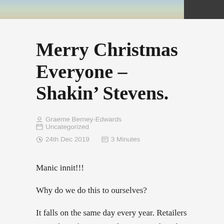[Figure (photo): Partial photo strip at top of page showing blurred colorful image with dark section on right]
Merry Christmas Everyone – Shakin' Stevens.
Graeme Berney-Edwards   Uncategorized   24th Dec 2019   3 Minutes
Manic innit!!!
Why do we do this to ourselves?
It falls on the same day every year. Retailers remind us of it's impending approach earlier and earlier every